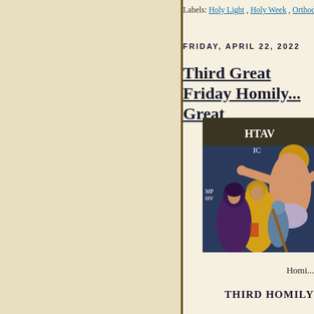Labels: Holy Light , Holy Week , Orthodoxy
FRIDAY, APRIL 22, 2022
Third Great Friday Homily... Great
[Figure (photo): Byzantine icon painting depicting the Crucifixion scene with Christ on the cross and mourning figures including the Virgin Mary in dark robes and a figure in golden robes, with Greek text HTAV and IC visible in the background.]
Homi...
THIRD HOMILY